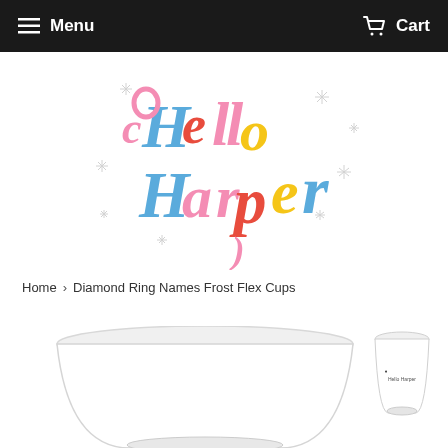Menu  Cart
[Figure (logo): Hello Harper colorful retro logo with sparkle decorations. Text reads 'Hello Harper' in mixed pink, blue, yellow, red, and orange decorative letters with sparkle/star accents around them.]
Home > Diamond Ring Names Frost Flex Cups
[Figure (photo): Main product image: large white frost flex cup shown from above/side angle, bottom portion visible]
[Figure (photo): Thumbnail product image: small white frost flex cup with diamond ring names design printed on it]